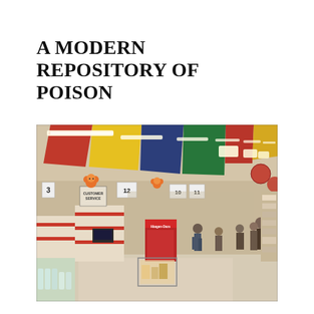A MODERN REPOSITORY OF POISON
[Figure (photo): Interior of a large supermarket or grocery store with checkout lanes, colorful overhead banners, shoppers, and product-stocked shelves. Signs visible include 'Customer Service' and lane numbers. Red decorative elements and a Häagen-Dazs stand are visible.]